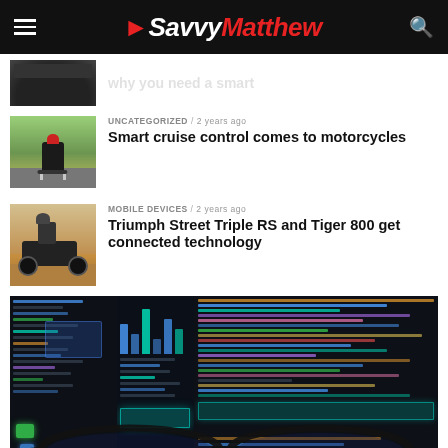SavvyMatthew
UNCATEGORIZED / 2 years ago — Smart cruise control comes to motorcycles
MOBILE DEVICES / 2 years ago — Triumph Street Triple RS and Tiger 800 get connected technology
[Figure (photo): Dark coding/programming screen viewed through glasses, showing colorful code editor with multiple columns of syntax-highlighted code, with a taskbar at the bottom]